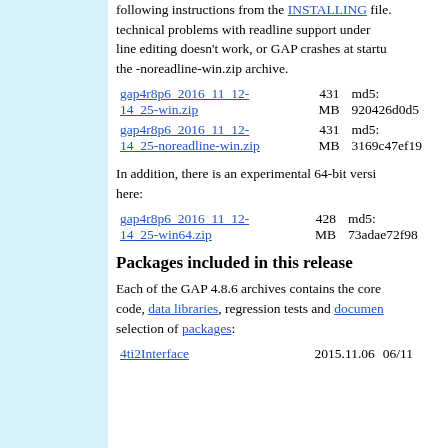following instructions from the INSTALLING file. technical problems with readline support under line editing doesn't work, or GAP crashes at startu the -noreadline-win.zip archive.
| File | Size | Hash |
| --- | --- | --- |
| gap4r8p6_2016_11_12-14_25-win.zip | 431 MB | md5: 920426d0d5... |
| gap4r8p6_2016_11_12-14_25-noreadline-win.zip | 431 MB | md5: 3169c47ef19... |
In addition, there is an experimental 64-bit versi here:
| File | Size | Hash |
| --- | --- | --- |
| gap4r8p6_2016_11_12-14_25-win64.zip | 428 MB | md5: 73adae72f98... |
Packages included in this release
Each of the GAP 4.8.6 archives contains the core code, data libraries, regression tests and documen selection of packages:
| Package | Version | Date |
| --- | --- | --- |
| 4ti2Interface | 2015.11.06 | 06/11... |